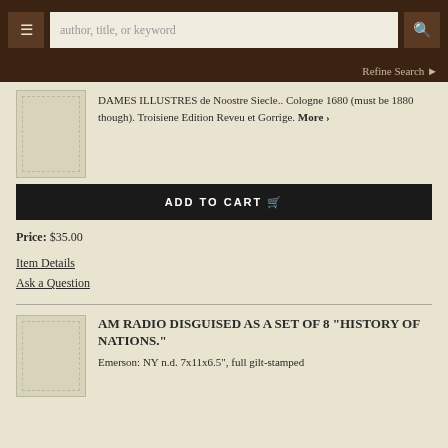author, title, or keyword
Refine Search
DAMES ILLUSTRES de Noostre Siecle.. Cologne 1680 (must be 1880 though). Troisiene Edition Reveu et Gorrige. More
ADD TO CART
Price: $35.00
Item Details
Ask a Question
AM RADIO DISGUISED AS A SET OF 8 "HISTORY OF NATIONS."
Emerson: NY n.d. 7x11x6.5", full gilt-stamped